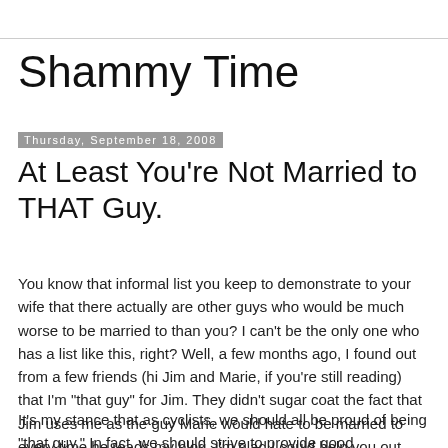Shammy Time
Thursday, September 18, 2008
At Least You're Not Married to THAT Guy.
You know that informal list you keep to demonstrate to your wife that there actually are other guys who would be much worse to be married to than you? I can't be the only one who has a list like this, right? Well, a few months ago, I found out from a few friends (hi Jim and Marie, if you're still reading) that I'm "that guy" for Jim. They didn't sugar coat the fact that Jim uses me as the guy Marie would hate to be married to every time he reads my blog. I'm glad I could help you out, Jim.
It's my stance that as cyclists, we should all be proud of being "that guy." In fact, we should strive to provide good